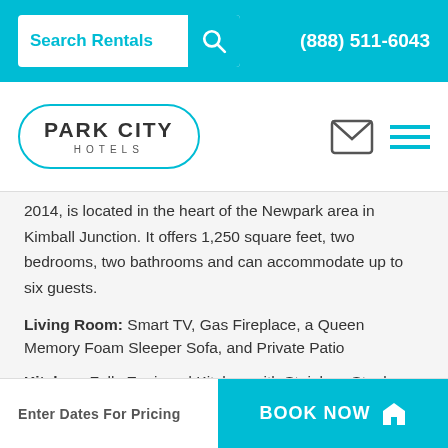Search Rentals  (888) 511-6043
[Figure (logo): Park City Hotels logo with cyan rounded rectangle border]
2014, is located in the heart of the Newpark area in Kimball Junction. It offers 1,250 square feet, two bedrooms, two bathrooms and can accommodate up to six guests.
Living Room: Smart TV, Gas Fireplace, a Queen Memory Foam Sleeper Sofa, and Private Patio
Kitchen: Fully Equipped Kitchen with Stainless Steel Appliances and Granite Counters with Dining Area
Enter Dates For Pricing   BOOK NOW